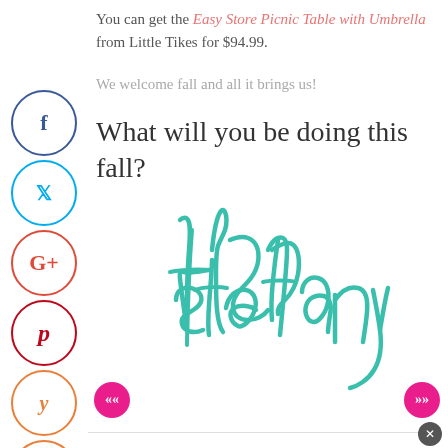You can get the Easy Store Picnic Table with Umbrella from Little Tikes for $94.99.
We welcome fall and all it brings us!
What will you be doing this fall?
[Figure (illustration): Handwritten cursive signature reading 'stefany' in teal/turquoise color]
[Figure (infographic): Vertical social media share button sidebar with circular icons for Facebook, Twitter, Google+, Pinterest, Yummly, StumbleUpon, and Reddit]